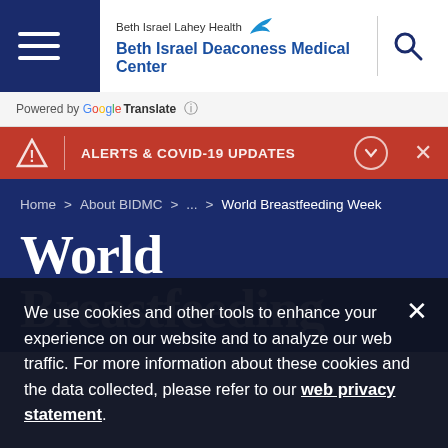Beth Israel Lahey Health Beth Israel Deaconess Medical Center
Powered by Google Translate
ALERTS & COVID-19 UPDATES
Home > About BIDMC > ... > World Breastfeeding Week
World Breastfeeding
We use cookies and other tools to enhance your experience on our website and to analyze our web traffic. For more information about these cookies and the data collected, please refer to our web privacy statement.